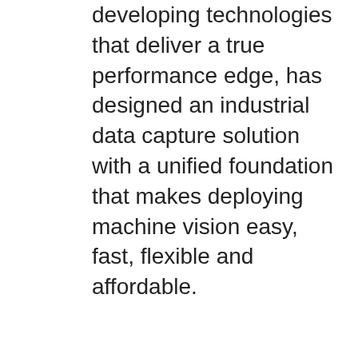developing technologies that deliver a true performance edge, has designed an industrial data capture solution with a unified foundation that makes deploying machine vision easy, fast, flexible and affordable.
[Figure (screenshot): YouTube video thumbnail showing 'Drive Production Performa...' video by AD&R, featuring a white gear/sprocket wheel on dark background on the left, and a cyan panel on the right with text 'Drive Produ Performance' and 'MACHINE V' in bold white, plus 'BROUGHT TO Y' and AD&R logo. A red YouTube play button is centered on the thumbnail.]